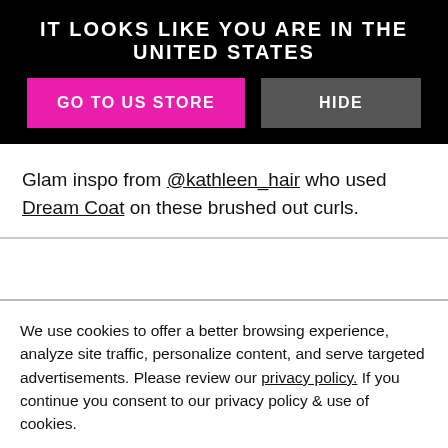IT LOOKS LIKE YOU ARE IN THE UNITED STATES
GO TO US STORE
HIDE
Glam inspo from @kathleen_hair who used Dream Coat on these brushed out curls.
We use cookies to offer a better browsing experience, analyze site traffic, personalize content, and serve targeted advertisements. Please review our privacy policy. If you continue you consent to our privacy policy & use of cookies.
ACCEPT COOKIES